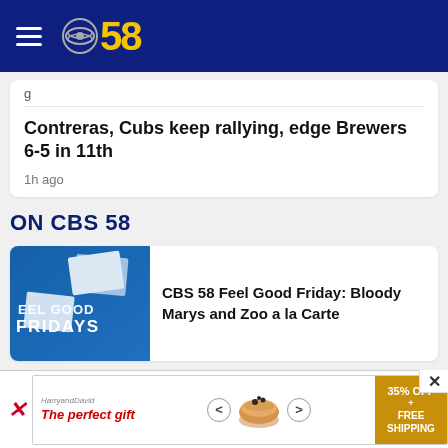CBS 58
g
Contreras, Cubs keep rallying, edge Brewers 6-5 in 11th
1h ago
ON CBS 58
[Figure (photo): Feel Good Fridays promotional graphic with postcards on blue background]
CBS 58 Feel Good Friday: Bloody Marys and Zoo a la Carte
[Figure (other): Advertisement banner: The perfect gift, 35% OFF + FREE SHIPPING]